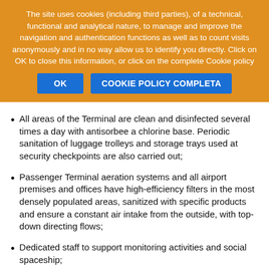The site uses cookies (including third parties), of a technical, functional and analytical nature, to manage and improve the navigation and authentication functions as well as to count visits anonymously and in no way allow us to identify you directly. Click on OK to close this information, or click on the complete Cookie policy
OK
COOKIE POLICY COMPLETA
All areas of the Terminal are clean and disinfected several times a day with antisorbee a chlorine base. Periodic sanitation of luggage trolleys and storage trays used at security checkpoints are also carried out;
Passenger Terminal aeration systems and all airport premises and offices have high-efficiency filters in the most densely populated areas, sanitized with specific products and ensure a constant air intake from the outside, with top-down directing flows;
Dedicated staff to support monitoring activities and social spaceship;
Protective devices: protective gloves and masks for